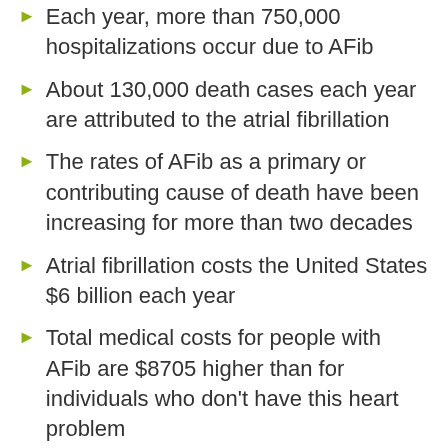Each year, more than 750,000 hospitalizations occur due to AFib
About 130,000 death cases each year are attributed to the atrial fibrillation
The rates of AFib as a primary or contributing cause of death have been increasing for more than two decades
Atrial fibrillation costs the United States $6 billion each year
Total medical costs for people with AFib are $8705 higher than for individuals who don't have this heart problem